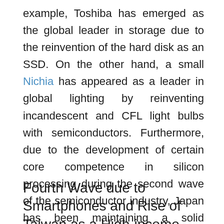example, Toshiba has emerged as the global leader in storage due to the reinvention of the hard disk as an SSD. On the other hand, a small Nichia has appeared as a leader in global lighting by reinventing incandescent and CFL light bulbs with semiconductors. Furthermore, due to the development of certain core competence in silicon processing during the second wave of the semiconductor industry, Japan has been maintaining a solid position, virtual monopoly in some instances, chemicals, process equipment, and wafer.
Fourth Wave due to Smartphones and Rise of Taiwan as a High-income Economy